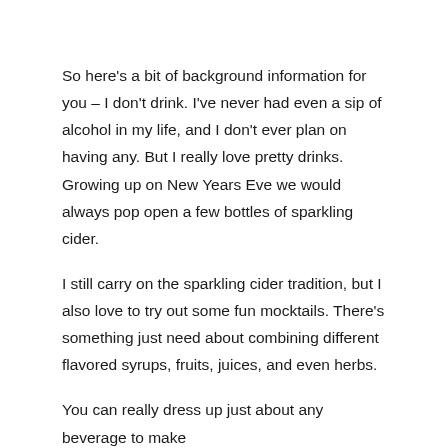So here's a bit of background information for you – I don't drink. I've never had even a sip of alcohol in my life, and I don't ever plan on having any. But I really love pretty drinks. Growing up on New Years Eve we would always pop open a few bottles of sparkling cider.
I still carry on the sparkling cider tradition, but I also love to try out some fun mocktails. There's something just need about combining different flavored syrups, fruits, juices, and even herbs.
You can really dress up just about any beverage to make